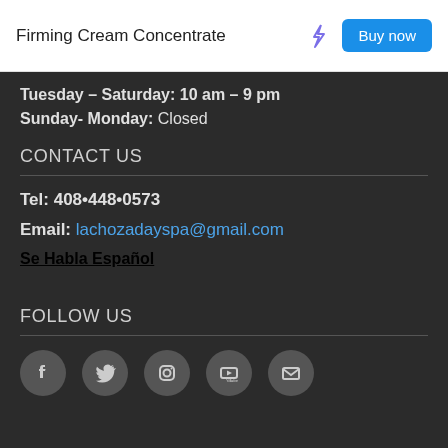Firming Cream Concentrate
Tuesday - Saturday: 10 am - 9 pm
Sunday- Monday: Closed
CONTACT US
Tel: 408•448•0573
Email: lachozadayspa@gmail.com
Se Habla Español
FOLLOW US
[Figure (other): Social media icon buttons: Facebook, Twitter, Instagram, YouTube, Email]